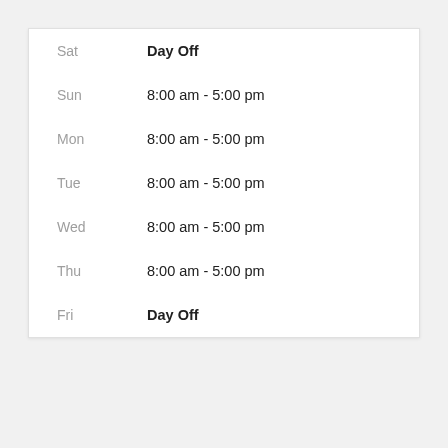| Day | Hours |
| --- | --- |
| Sat | Day Off |
| Sun | 8:00 am - 5:00 pm |
| Mon | 8:00 am - 5:00 pm |
| Tue | 8:00 am - 5:00 pm |
| Wed | 8:00 am - 5:00 pm |
| Thu | 8:00 am - 5:00 pm |
| Fri | Day Off |